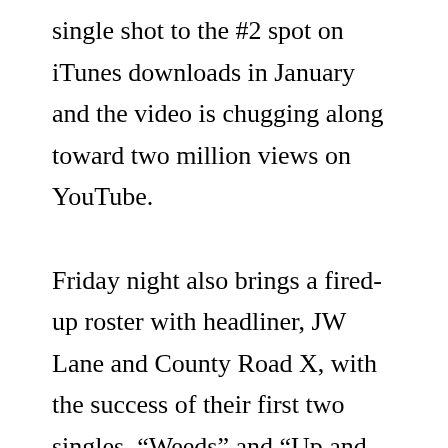single shot to the #2 spot on iTunes downloads in January and the video is chugging along toward two million views on YouTube.

Friday night also brings a fired-up roster with headliner, JW Lane and County Road X, with the success of their first two singles, “Weeds” and “Up and Gone,” produced by Mike McClure (The Great Divide), and their recent single, “Tease,” this band is a first-rate crowd pleaser with nowhere to go but up. Other hit